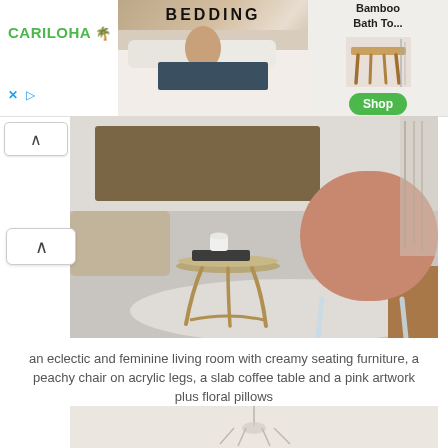[Figure (screenshot): Advertisement banner for Cariloha bamboo bedding products. Left side shows CARILOHA logo in green with a palm icon and close/play icons below. Center shows a woman lying on white bedding with text BEDDING and a green underline bar. Right panel shows bamboo bath products image with a wooden stool photo and a green Shop button.]
[Figure (photo): Interior photo of an eclectic and feminine living room showing a small round gold side table with books and a white cup, a peachy/blush upholstered chair on clear acrylic legs, light grey concrete flooring, a white rug, and part of a wood-framed sofa. Pink drumshade lamp visible at right edge.]
an eclectic and feminine living room with creamy seating furniture, a peachy chair on acrylic legs, a slab coffee table and a pink artwork plus floral pillows
[Figure (photo): Partial view of a second interior room photo at bottom of page, showing a light-colored space with a chandelier visible at center.]